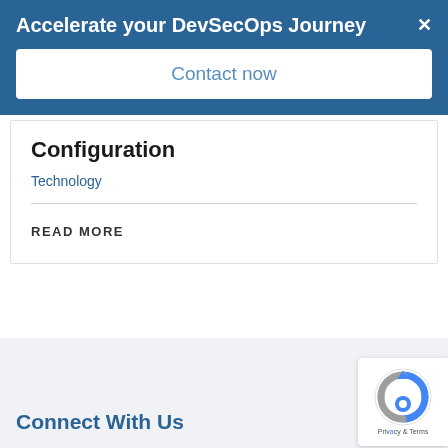Accelerate your DevSecOps Journey
Contact now
Configuration
Technology
READ MORE
Connect With Us